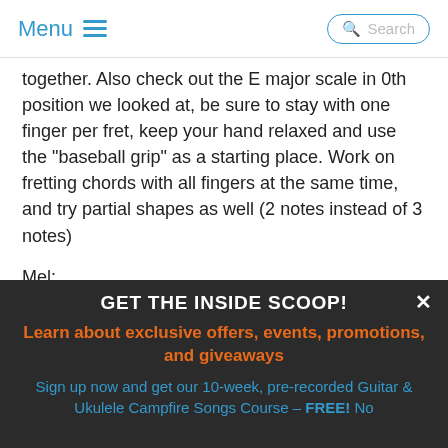Menu | Search
together. Also check out the E major scale in 0th position we looked at, be sure to stay with one finger per fret, keep your hand relaxed and use the "baseball grip" as a starting place. Work on fretting chords with all fingers at the same time, and try partial shapes as well (2 notes instead of 3 notes)
Mel:
Play through the C major scale exercise (C C D C CD E D C. . .etc)
GET THE INSIDE SCOOP!
Learn about exclusive offers, events, promotions, and giveaways
Sign up now and get our 10-week, pre-recorded Guitar & Ukulele Campfire Songs Course - FREE! No